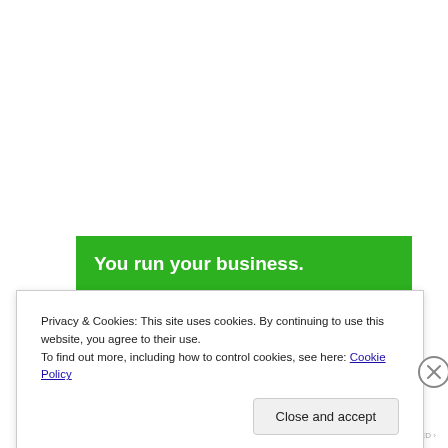[Figure (screenshot): Green banner with bold white text reading 'You run your business.' on a bright green background, partially visible at top of a webpage screenshot.]
Privacy & Cookies: This site uses cookies. By continuing to use this website, you agree to their use.
To find out more, including how to control cookies, see here: Cookie Policy
Close and accept